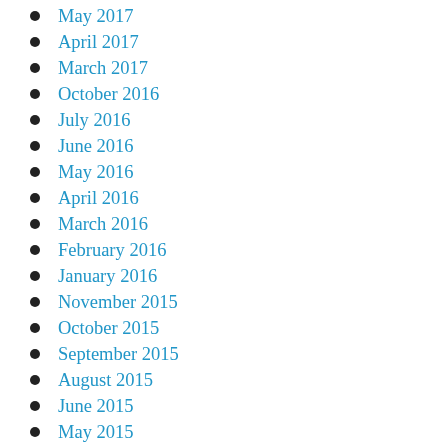May 2017
April 2017
March 2017
October 2016
July 2016
June 2016
May 2016
April 2016
March 2016
February 2016
January 2016
November 2015
October 2015
September 2015
August 2015
June 2015
May 2015